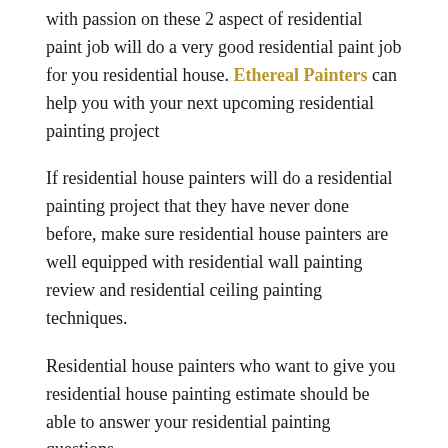with passion on these 2 aspect of residential paint job will do a very good residential paint job for you residential house. Ethereal Painters can help you with your next upcoming residential painting project
If residential house painters will do a residential painting project that they have never done before, make sure residential house painters are well equipped with residential wall painting review and residential ceiling painting techniques.
Residential house painters who want to give you residential house painting estimate should be able to answer your residential painting questions.
Residential house painters who have residential painting checklist will do a better residential paint job for you